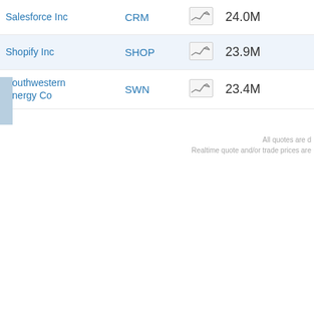| Company | Ticker | Chart | Volume |
| --- | --- | --- | --- |
| Salesforce Inc | CRM |  | 24.0M |
| Shopify Inc | SHOP |  | 23.9M |
| Southwestern Energy Co | SWN |  | 23.4M |
All quotes are d... Realtime quote and/or trade prices are...